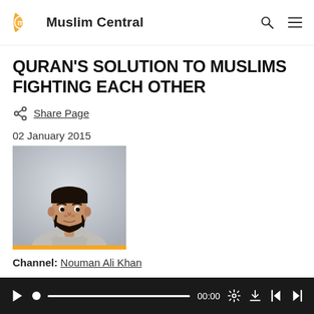Muslim Central
QURAN'S SOLUTION TO MUSLIMS FIGHTING EACH OTHER
Share Page
02 January 2015
[Figure (photo): Headshot of a man with a beard wearing a light-colored suit, against a grey background, with a gold/yellow bar at the bottom]
Channel: Nouman Ali Khan
[Figure (other): Audio player bar with play button, progress bar showing 00:00, settings icon, download icon, and navigation icons]